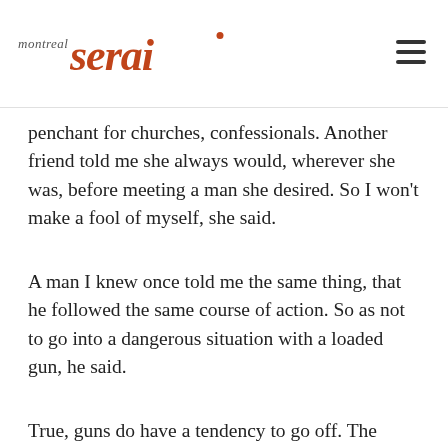montreal serai
penchant for churches, confessionals. Another friend told me she always would, wherever she was, before meeting a man she desired. So I won’t make a fool of myself, she said.
A man I knew once told me the same thing, that he followed the same course of action. So as not to go into a dangerous situation with a loaded gun, he said.
True, guns do have a tendency to go off. The woman in the train, through the Italian Alps. Arched Persian eyebrows, a stern, severe demeanour. She was a